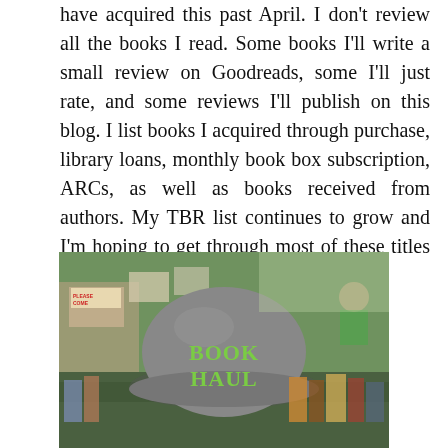have acquired this past April. I don't review all the books I read. Some books I'll write a small review on Goodreads, some I'll just rate, and some reviews I'll publish on this blog. I list books I acquired through purchase, library loans, monthly book box subscription, ARCs, as well as books received from authors. My TBR list continues to grow and I'm hoping to get through most of these titles by the next book haul at the end of May.
[Figure (photo): Outdoor book fair/sale scene with a person wearing a grey hat that has 'BOOK HAUL' written in green letters on it. Books and book stalls visible in the background.]